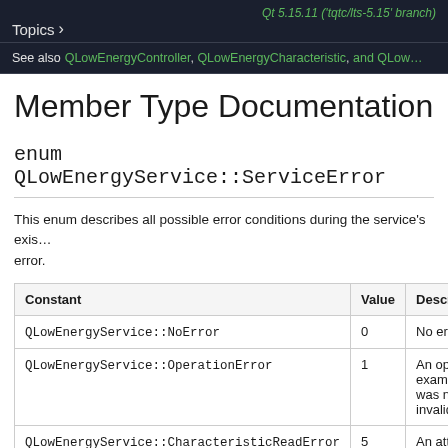Qt 5.15.11 ('tqtc/lts-5.15' branch)  Topics >
See also QLowEnergyController, QLowEnergyCharacteristic, and QLow…
Member Type Documentation
enum QLowEnergyService::ServiceError
This enum describes all possible error conditions during the service's existence. The last occurred error is reported as QLowEnergyService::ServiceError via the QLowEnergyService::error signal. The QLowEnergyService::error() function returns the service error.
| Constant | Value | Description |
| --- | --- | --- |
| QLowEnergyService::NoError | 0 | No error ha… |
| QLowEnergyService::OperationError | 1 | An operatio… example m… was not ye… invalid due… |
| QLowEnergyService::CharacteristicReadError | 5 | An attempt… might be tr… |